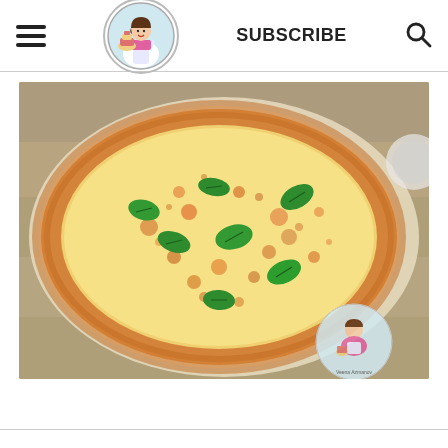Veena Azmanov blog header with hamburger menu, logo, SUBSCRIBE button, and search icon
[Figure (photo): A round margherita-style pizza with melted mozzarella cheese, scattered fresh basil leaves, and a golden-brown crust, placed on parchment paper on a rustic wooden surface. A Veena Azmanov watermark logo is visible in the bottom right corner of the image.]